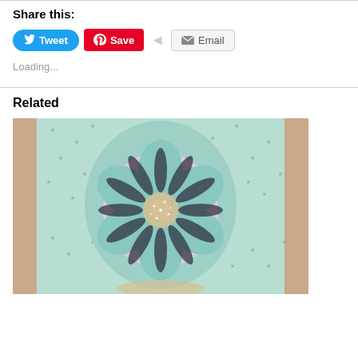Share this:
[Figure (infographic): Social sharing buttons: Tweet (blue Twitter button), Save (red Pinterest button), Email (grey email button)]
Loading...
Related
[Figure (photo): Close-up photo of a handmade greeting card featuring a teal/mint flower with dark stamped petals and a glittery center, layered on a pink background with a teal oval mat, surrounded by a floral patterned paper with small dots]